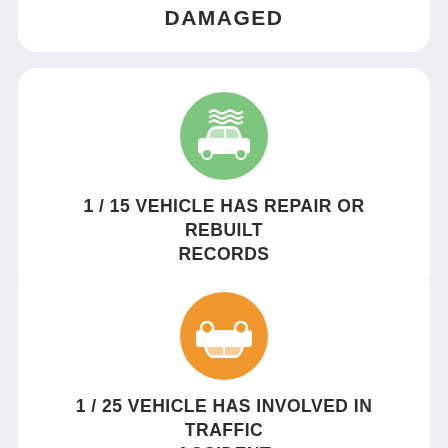DAMAGED
[Figure (infographic): Green circle icon with a car being flooded/repaired illustration]
1 / 15 VEHICLE HAS REPAIR OR REBUILT RECORDS
[Figure (infographic): Orange circle icon with a flipped/upside-down car illustration]
1 / 25 VEHICLE HAS INVOLVED IN TRAFFIC ACCIDENT